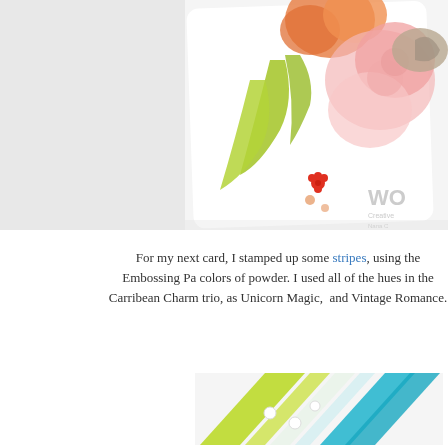[Figure (photo): A greeting card with floral design featuring orange, pink, and green glitter flowers and leaves on a white background, with a 'WO Creative' watermark in the corner]
For my next card, I stamped up some stripes, using the Embossing Pa colors of powder. I used all of the hues in the Carribean Charm trio, as Unicorn Magic,  and Vintage Romance.
[Figure (photo): Close-up of a striped card featuring lime green, light mint, and teal blue glitter diagonal stripes with small white pearl embellishments]